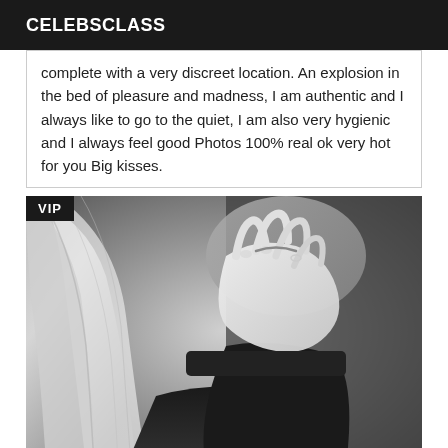CELEBSCLASS
complete with a very discreet location. An explosion in the bed of pleasure and madness, I am authentic and I always like to go to the quiet, I am also very hygienic and I always feel good Photos 100% real ok very hot for you Big kisses.
[Figure (photo): Black and white close-up photo of a woman with long blonde hair covering part of her face with her hand, wearing a dark turtleneck sweater. A VIP badge is overlaid in the top-left corner.]